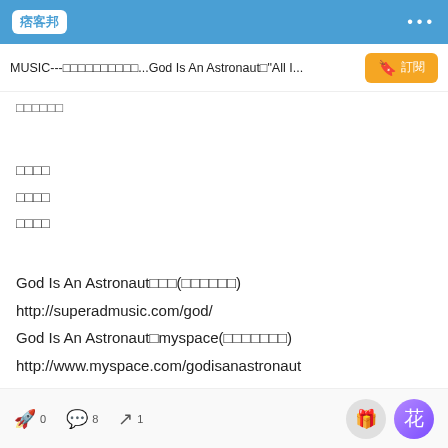痞客邦
MUSIC---□□□□□□□□□□...God Is An Astronaut□"All I...
□□□□□□
□□□□
□□□□
□□□□
God Is An Astronaut□□□(□□□□□□)
http://superadmusic.com/god/
God Is An Astronaut□myspace(□□□□□□□)
http://www.myspace.com/godisanastronaut
0  8  1